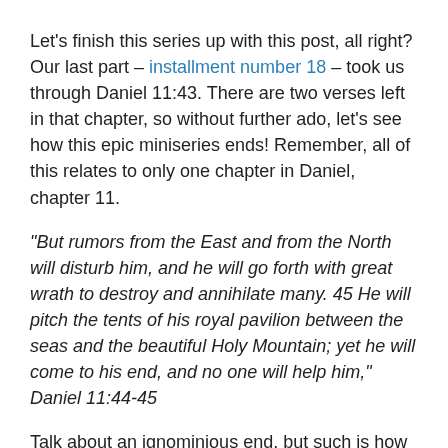Let's finish this series up with this post, all right? Our last part – installment number 18 – took us through Daniel 11:43. There are two verses left in that chapter, so without further ado, let's see how this epic miniseries ends! Remember, all of this relates to only one chapter in Daniel, chapter 11.
“But rumors from the East and from the North will disturb him, and he will go forth with great wrath to destroy and annihilate many. 45 He will pitch the tents of his royal pavilion between the seas and the beautiful Holy Mountain; yet he will come to his end, and no one will help him,” Daniel 11:44-45
Talk about an ignominious end, but such is how the Antichrist finds his end. This is an interesting scenario. The first part of the above text tells us that Antichrist will